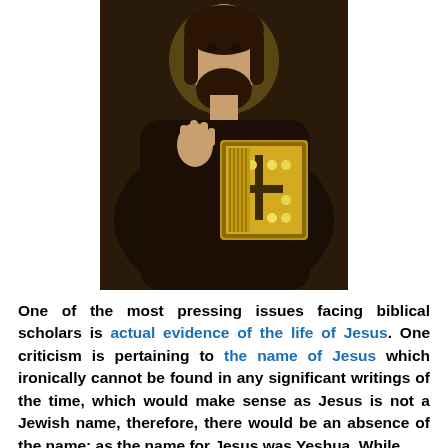[Figure (illustration): A painting or icon depicting a bearded figure (Jesus) in dark robes, holding an ornate golden book with a cross embossed on it, right hand raised in a blessing gesture, against a dark background.]
One of the most pressing issues facing biblical scholars is actual evidence of the life of Jesus. One criticism is pertaining to the name of Jesus which ironically cannot be found in any significant writings of the time, which would make sense as Jesus is not a Jewish name, therefore, there would be an absence of the name; as the name for Jesus was Yeshua. While